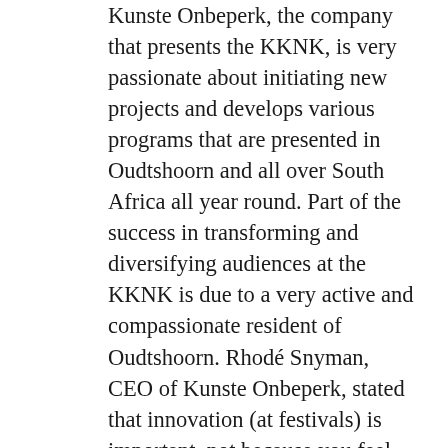Kunste Onbeperk, the company that presents the KKNK, is very passionate about initiating new projects and develops various programs that are presented in Oudtshoorn and all over South Africa all year round. Part of the success in transforming and diversifying audiences at the KKNK is due to a very active and compassionate resident of Oudtshoorn. Rhodé Snyman, CEO of Kunste Onbeperk, stated that innovation (at festivals) is important, not because you feel threatened, but to stimulate creativity, support emerging artists, develop new work and build new audiences (Maandblad Zuid Afrika. May 2016, p. 108).
Uitkampteater is an example of the spirit of the organization and its commitment to provide economic opportunities, especially for young performing artists, and to create exciting and new